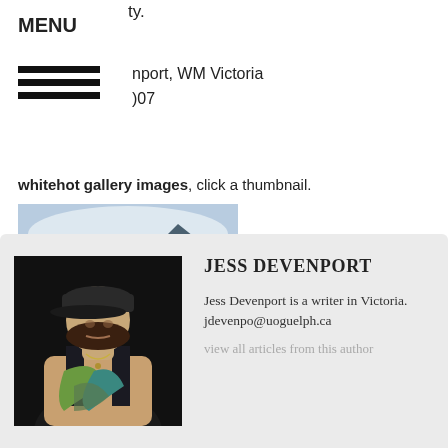ty.
MENU
nport, WM Victoria
)07
whitehot gallery images, click a thumbnail.
[Figure (photo): Outdoor art installation or painting showing mountains, sky, and landscape with figures in foreground]
[Figure (photo): Portrait of Jess Devenport, a young woman wearing a dark cap and green scarf, looking downward against a black background]
JESS DEVENPORT
Jess Devenport is a writer in Victoria. jdevenpo@uoguelph.ca
view all articles from this author